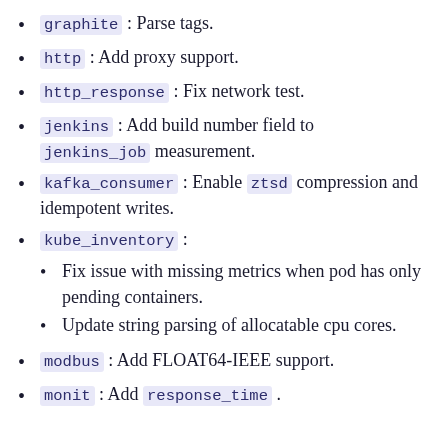graphite : Parse tags.
http : Add proxy support.
http_response : Fix network test.
jenkins : Add build number field to jenkins_job measurement.
kafka_consumer : Enable ztsd compression and idempotent writes.
kube_inventory :
Fix issue with missing metrics when pod has only pending containers.
Update string parsing of allocatable cpu cores.
modbus : Add FLOAT64-IEEE support.
monit : Add response_time .